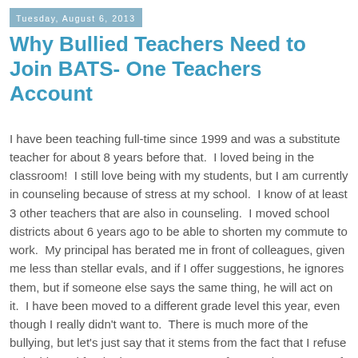Tuesday, August 6, 2013
Why Bullied Teachers Need to Join BATS- One Teachers Account
I have been teaching full-time since 1999 and was a substitute teacher for about 8 years before that.  I loved being in the classroom!  I still love being with my students, but I am currently in counseling because of stress at my school.  I know of at least 3 other teachers that are also in counseling.  I moved school districts about 6 years ago to be able to shorten my commute to work.  My principal has berated me in front of colleagues, given me less than stellar evals, and if I offer suggestions, he ignores them, but if someone else says the same thing, he will act on it.  I have been moved to a different grade level this year, even though I really didn't want to.  There is much more of the bullying, but let's just say that it stems from the fact that I refuse to be blamed for the lower tests scores of my students, most of